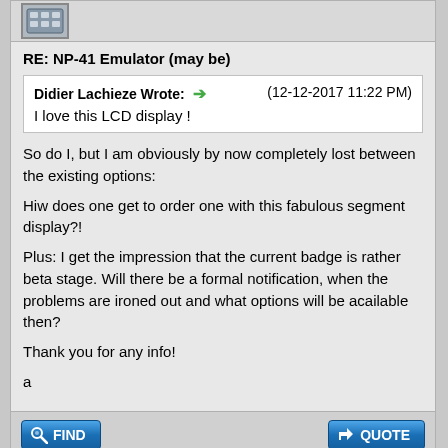[Figure (screenshot): Calculator/avatar icon at top of forum post]
RE: NP-41 Emulator (may be)
Didier Lachieze Wrote: → (12-12-2017 11:22 PM)
I love this LCD display !
So do I, but I am obviously by now completely lost between the existing options:
Hiw does one get to order one with this fabulous segment display?!
Plus: I get the impression that the current badge is rather beta stage. Will there be a formal notification, when the problems are ironed out and what options will be acailable then?
Thank you for any info!
a
12-16-2017, 07:51 PM (This post was last modified: 12-16-2017 08:08 PM by Egan Ford.)